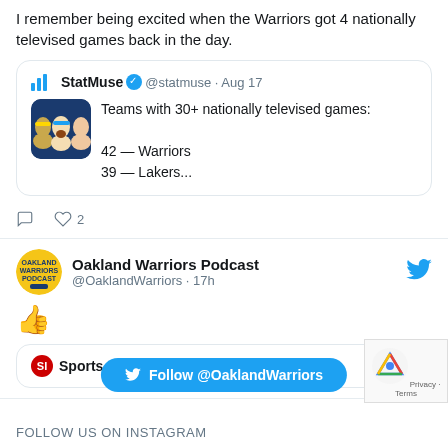I remember being excited when the Warriors got 4 nationally televised games back in the day.
[Figure (screenshot): Quoted tweet from StatMuse (@statmuse, Aug 17) with avatar image of Warriors players and text: Teams with 30+ nationally televised games: 42 — Warriors, 39 — Lakers...]
👍
[Figure (screenshot): Oakland Warriors Podcast @OaklandWarriors · 17h Twitter account header with profile picture (circular yellow podcast logo) and blue Twitter bird icon]
[Figure (screenshot): Nested quoted tweet from Sports Illustrated @SInow · Aug 17]
Follow @OaklandWarriors
FOLLOW US ON INSTAGRAM